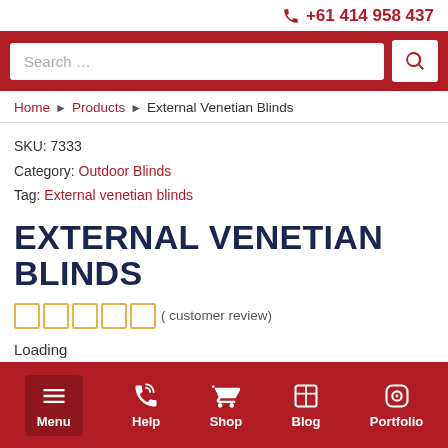+61 414 958 437
[Figure (screenshot): Search bar with red background and magnifying glass button]
Home > Products > External Venetian Blinds
SKU: 7333
Category: Outdoor Blinds
Tag: External venetian blinds
EXTERNAL VENETIAN BLINDS
( customer review)
Loading
Menu  Help  Shop  Blog  Portfolio